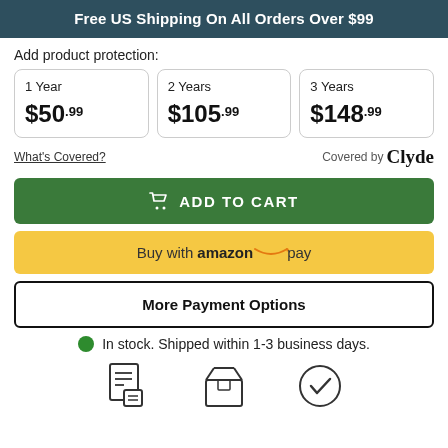Free US Shipping On All Orders Over $99
Add product protection:
| 1 Year | 2 Years | 3 Years |
| $50.99 | $105.99 | $148.99 |
What's Covered? | Covered by Clyde
ADD TO CART
Buy with amazon pay
More Payment Options
In stock. Shipped within 1-3 business days.
[Figure (illustration): Three icons: invoice/document icon, box/shipping icon, and checkmark/verified icon]